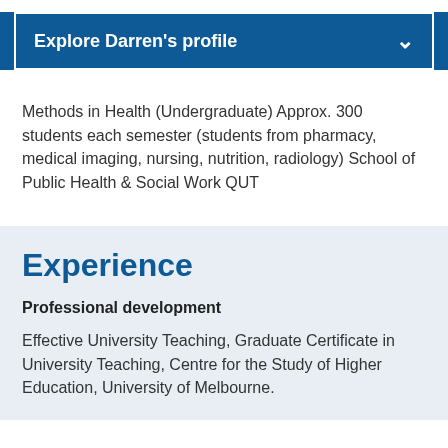Explore Darren's profile
Methods in Health (Undergraduate) Approx. 300 students each semester (students from pharmacy, medical imaging, nursing, nutrition, radiology) School of Public Health & Social Work QUT
Experience
Professional development
Effective University Teaching, Graduate Certificate in University Teaching, Centre for the Study of Higher Education, University of Melbourne.